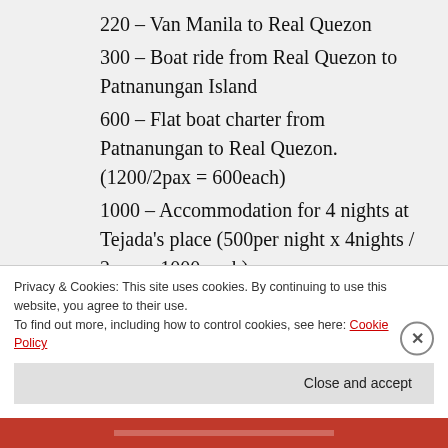220 – Van Manila to Real Quezon
300 – Boat ride from Real Quezon to Patnanungan Island
600 – Flat boat charter from Patnanungan to Real Quezon. (1200/2pax = 600each)
1000 – Accommodation for 4 nights at Tejada's place (500per night x 4nights / 2pax = 1000 each)
600 – Motorbike rental from Jomalig proper to Sitio Kanaway (Day tour only. 700 if staying overnight)
Privacy & Cookies: This site uses cookies. By continuing to use this website, you agree to their use. To find out more, including how to control cookies, see here: Cookie Policy